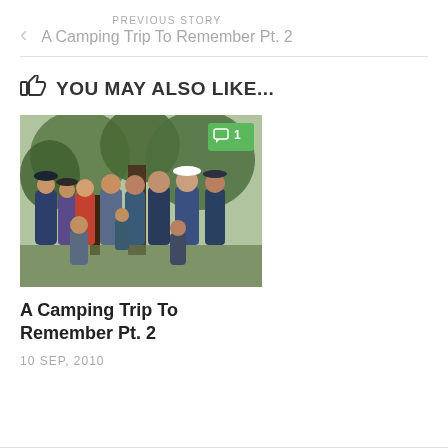PREVIOUS STORY
A Camping Trip To Remember Pt. 2
YOU MAY ALSO LIKE...
[Figure (photo): Group photo of people standing outdoors under trees, with a green comment badge showing '1' in the top right corner]
A Camping Trip To Remember Pt. 2
10 SEP, 2010